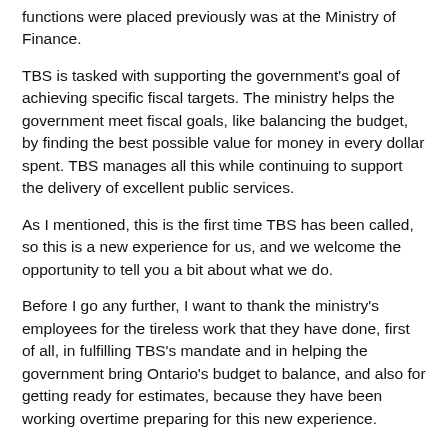functions were placed previously was at the Ministry of Finance.
TBS is tasked with supporting the government's goal of achieving specific fiscal targets. The ministry helps the government meet fiscal goals, like balancing the budget, by finding the best possible value for money in every dollar spent. TBS manages all this while continuing to support the delivery of excellent public services.
As I mentioned, this is the first time TBS has been called, so this is a new experience for us, and we welcome the opportunity to tell you a bit about what we do.
Before I go any further, I want to thank the ministry's employees for the tireless work that they have done, first of all, in fulfilling TBS's mandate and in helping the government bring Ontario's budget to balance, and also for getting ready for estimates, because they have been working overtime preparing for this new experience.